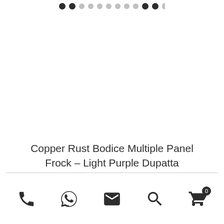[Figure (other): Carousel pagination dots row at the top: 2 filled black dots, 7 small gray dots, 2 large filled black dots, 1 partial dot on the right edge]
Copper Rust Bodice Multiple Panel Frock – Light Purple Dupatta
[Figure (other): Bottom navigation bar with icons: phone, WhatsApp/chat bubble, envelope/email, search magnifier, shopping cart with badge showing 0]